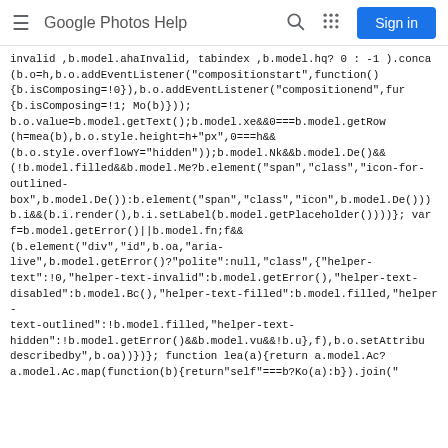Google Photos Help  Sign in
invalid ,b.model.ahaInvalid, tabindex ,b.model.hq? 0 : -1 ).conca(b.o=h,b.o.addEventListener("compositionstart",function(){b.isComposing=!0}),b.o.addEventListener("compositionend",fur{b.isComposing=!1; Mo(b)}));b.o.value=b.model.getText();b.model.xe&&0===b.model.getRow(h=mea(b),b.o.style.height=h+"px",0===h&&(b.o.style.overflowY="hidden"));b.model.Nk&&b.model.De()&&(!b.model.filled&&b.model.Me?b.element("span","class","icon-for-outlined-box",b.model.De()):b.element("span","class","icon",b.model.De()))b.i&&(b.i.render(),b.i.setLabel(b.model.getPlaceholder())))}; var f=b.model.getError()||b.model.fn;f&&(b.element("div","id",b.oa,"aria-live",b.model.getError()?"polite":null,"class",{"helper-text":!0,"helper-text-invalid":b.model.getError(),"helper-text-disabled":b.model.Bc(),"helper-text-filled":b.model.filled,"helper-text-outlined":!b.model.filled,"helper-text-hidden":!b.model.getError()&&b.model.vu&&!b.u},f),b.o.setAttribudescribedby",b.oa))})}; function lea(a){return a.model.Ac?a.model.Ac.map(function(b){return"self"===b?Ko(a):b}).join("